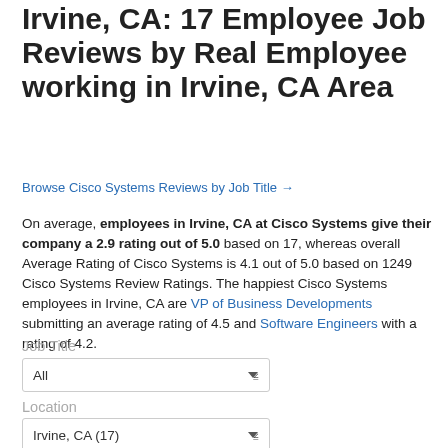Working in Cisco Systems in Irvine, CA: 17 Employee Job Reviews by Real Employee working in Irvine, CA Area
Browse Cisco Systems Reviews by Job Title →
On average, employees in Irvine, CA at Cisco Systems give their company a 2.9 rating out of 5.0 based on 17, whereas overall Average Rating of Cisco Systems is 4.1 out of 5.0 based on 1249 Cisco Systems Review Ratings. The happiest Cisco Systems employees in Irvine, CA are VP of Business Developments submitting an average rating of 4.5 and Software Engineers with a rating of 4.2.
Job Title
All
Location
Irvine, CA (17)